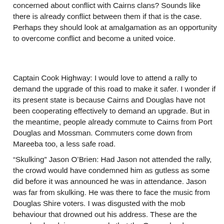concerned about conflict with Cairns clans? Sounds like there is already conflict between them if that is the case. Perhaps they should look at amalgamation as an opportunity to overcome conflict and become a united voice.
Captain Cook Highway: I would love to attend a rally to demand the upgrade of this road to make it safer. I wonder if its present state is because Cairns and Douglas have not been cooperating effectively to demand an upgrade. But in the meantime, people already commute to Cairns from Port Douglas and Mossman. Commuters come down from Mareeba too, a less safe road.
“Skulking” Jason O’Brien: Had Jason not attended the rally, the crowd would have condemned him as gutless as some did before it was announced he was in attendance. Jason was far from skulking. He was there to face the music from Douglas Shire voters. I was disgusted with the mob behaviour that drowned out his address. These are the people who claim erroneously that the Queensland Government was undemocratic. Yet they undemocratically tried to prevent Jason have a say. I can understand and